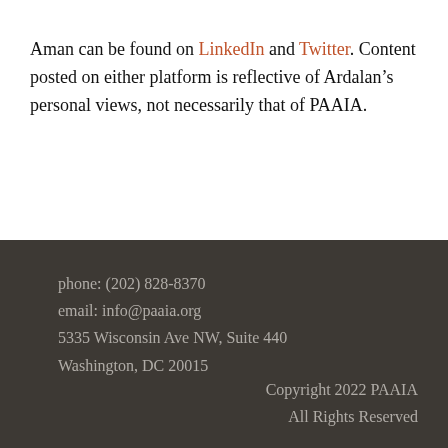Aman can be found on LinkedIn and Twitter. Content posted on either platform is reflective of Ardalan’s personal views, not necessarily that of PAAIA.
phone: (202) 828-8370
email: info@paaia.org
5335 Wisconsin Ave NW, Suite 440
Washington, DC 20015
Copyright 2022 PAAIA
All Rights Reserved